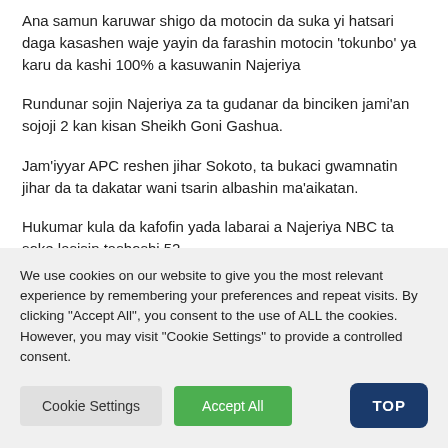Ana samun karuwar shigo da motocin da suka yi hatsari daga kasashen waje yayin da farashin motocin 'tokunbo' ya karu da kashi 100% a kasuwanin Najeriya
Rundunar sojin Najeriya za ta gudanar da binciken jami'an sojoji 2 kan kisan Sheikh Goni Gashua.
Jam'iyyar APC reshen jihar Sokoto, ta bukaci gwamnatin jihar da ta dakatar wani tsarin albashin ma'aikatan.
Hukumar kula da kafofin yada labarai a Najeriya NBC ta soke lasisin tashoshi 52
We use cookies on our website to give you the most relevant experience by remembering your preferences and repeat visits. By clicking "Accept All", you consent to the use of ALL the cookies. However, you may visit "Cookie Settings" to provide a controlled consent.